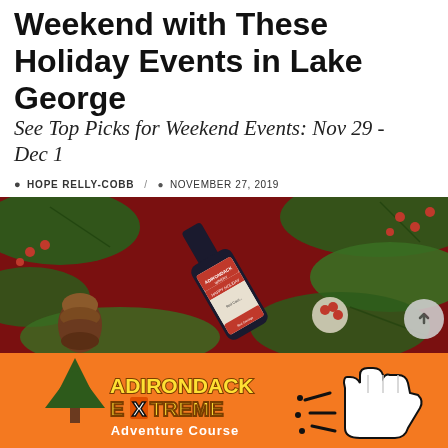Weekend with These Holiday Events in Lake George
See Top Picks for Weekend Events: Nov 29 - Dec 1
HOPE RELLY-COBB / NOVEMBER 27, 2019
[Figure (photo): A bottle of Adirondack Winery Happy Holidays Red Carriage wine surrounded by pine branches, red berries, and a pinecone on a red background.]
[Figure (logo): Adirondack Extreme Adventure Course advertisement banner with orange background, yellow and white stylized text, green tree graphic, and a pointing hand cursor icon with sparkle lines.]